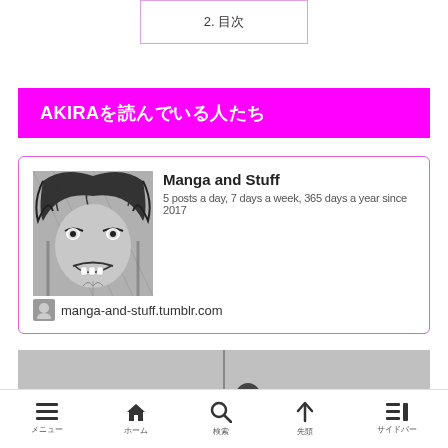2. 目次
AKIRAを読んでいる人たち
[Figure (screenshot): Tumblr blog card for 'Manga and Stuff' showing a monochrome manga character illustration and the blog URL manga-and-stuff.tumblr.com]
Manga and Stuff
5 posts a day, 7 days a week, 365 days a year since 2017
manga-and-stuff.tumblr.com
[Figure (screenshot): Bottom partial image showing gray background with a dark silhouetted figure]
メニュー　ホーム　検索　先頭　サイドバー